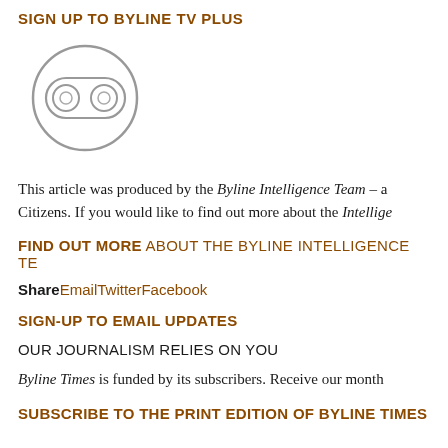SIGN UP TO BYLINE TV PLUS
[Figure (logo): Byline TV Plus logo — circular icon with two oval eye/lens shapes side by side inside a circle]
This article was produced by the Byline Intelligence Team – a Citizens. If you would like to find out more about the Intellige
FIND OUT MORE ABOUT THE BYLINE INTELLIGENCE TE
Share EmailTwitterFacebook
SIGN-UP TO EMAIL UPDATES
OUR JOURNALISM RELIES ON YOU
Byline Times is funded by its subscribers. Receive our month
SUBSCRIBE TO THE PRINT EDITION OF BYLINE TIMES